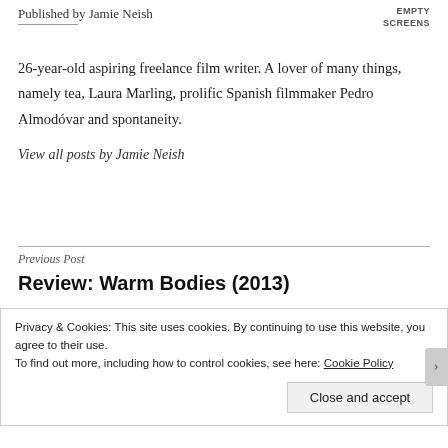Published by Jamie Neish
EMPTY SCREENS
26-year-old aspiring freelance film writer. A lover of many things, namely tea, Laura Marling, prolific Spanish filmmaker Pedro Almodóvar and spontaneity.
View all posts by Jamie Neish
Previous Post
Review: Warm Bodies (2013)
Privacy & Cookies: This site uses cookies. By continuing to use this website, you agree to their use. To find out more, including how to control cookies, see here: Cookie Policy
Close and accept